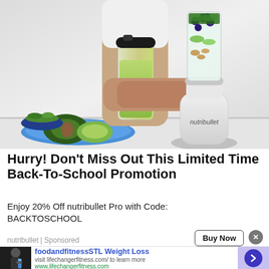[Figure (photo): Photo of nutribullet blenders and smoothies. On the left, a hand holds a green smoothie in a clear blender cup. In the background is an avocado on a blue plate and a bowl of greens. On the right, a white nutribullet blender base with a cup filled with blueberries, kale, cucumber, and nuts. The nutribullet logo is visible on the base.]
Hurry! Don't Miss Out This Limited Time Back-To-School Promotion
Enjoy 20% Off nutribullet Pro with Code: BACKTOSCHOOL
nutribullet | Sponsored
[Figure (photo): Small thumbnail image of a person in workout clothes holding a blue water bottle, used for the foodandfitnessSTL Weight Loss ad banner at the bottom.]
foodandfitnessSTL Weight Loss
visit lifechangerfitness.com/ to learn more
www.lifechangerfitness.com